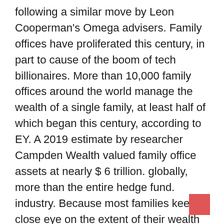following a similar move by Leon Cooperman's Omega advisers. Family offices have proliferated this century, in part to cause of the boom of tech billionaires. More than 10,000 family offices around the world manage the wealth of a single family, at least half of which began this century, according to EY. A 2019 estimate by researcher Campden Wealth valued family office assets at nearly $ 6 trillion. globally, more than the entire hedge fund. industry. Because most families keep a close eye on the extent of their wealth and very little public records are available to track their assets, the exact figure could be higher or lower. It is rare for family offices to take as much risk as they do. Archegos. But hedge funds that convert to family offices are more likely to stick with their trading strategies, which often use leveraged bets that can have a broader market effect. Some family offices have also recently launched so-called firms in white – front companies whose goal is Part of the Private Investor Coalition's plan is to tell regulators they already have
[Figure (other): A red square decorative element in the lower right area of the page]